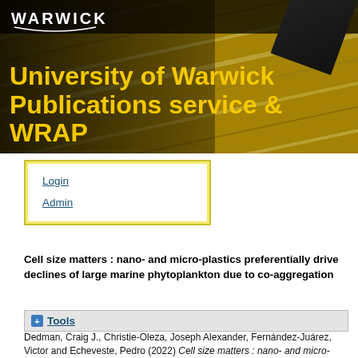[Figure (logo): University of Warwick Publications service & WRAP header banner with yellow text on dark background with yellow pencils]
Login
Admin
Cell size matters : nano- and micro-plastics preferentially drive declines of large marine phytoplankton due to co-aggregation
Tools
Dedman, Craig J., Christie-Oleza, Joseph Alexander, Fernández-Juárez, Victor and Echeveste, Pedro (2022) Cell size matters : nano- and micro-plastics preferentially drive declines of large marine phytoplankton due to co-